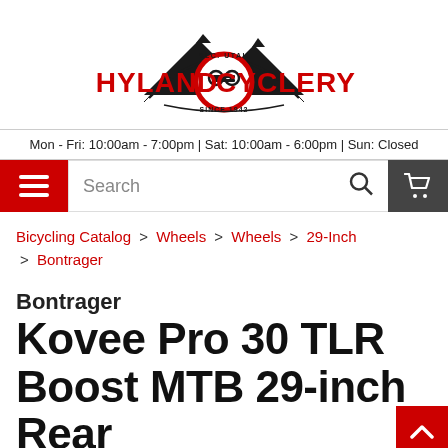[Figure (logo): Hyland Cyclery logo with mountain silhouette, red text reading HYLAND CYCLERY, chain link icon in center circle, SLC UTAH and SINCE 1942 text]
Mon - Fri: 10:00am - 7:00pm | Sat: 10:00am - 6:00pm | Sun: Closed
Search
Bicycling Catalog > Wheels > Wheels > 29-Inch > Bontrager
Bontrager
Kovee Pro 30 TLR Boost MTB 29-inch Rear